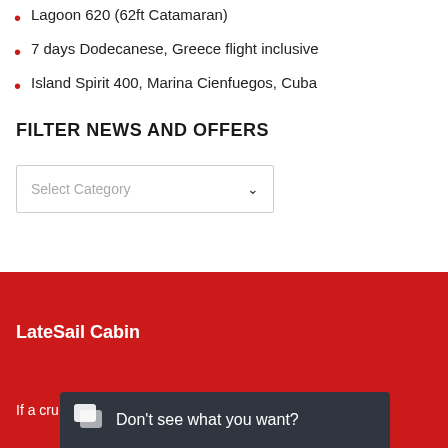Lagoon 620 (62ft Catamaran)
7 days Dodecanese, Greece flight inclusive
Island Spirit 400, Marina Cienfuegos, Cuba
FILTER NEWS AND OFFERS
[Figure (screenshot): Dropdown select box with placeholder text 'Select Category' and a down chevron arrow]
LateSail Cabin
If a cru
Don't see what you want?